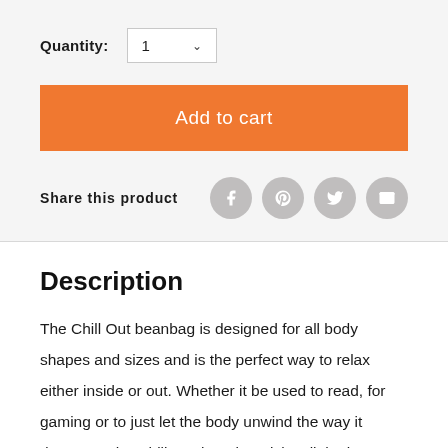Quantity: 1
Add to cart
Share this product
Description
The Chill Out beanbag is designed for all body shapes and sizes and is the perfect way to relax either inside or out. Whether it be used to read, for gaming or to just let the body unwind the way it deserves, the Chill Out beanbag ticks all the boxes when it comes to relaxing in